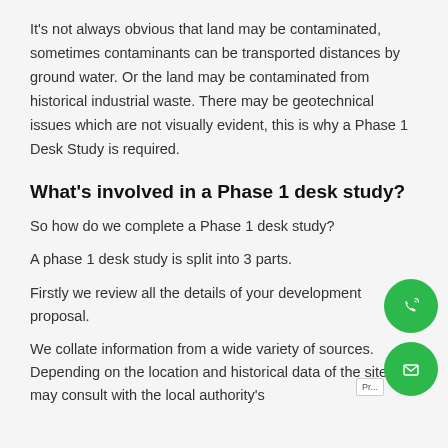It's not always obvious that land may be contaminated, sometimes contaminants can be transported distances by ground water. Or the land may be contaminated from historical industrial waste. There may be geotechnical issues which are not visually evident, this is why a Phase 1 Desk Study is required.
What's involved in a Phase 1 desk study?
So how do we complete a Phase 1 desk study?
A phase 1 desk study is split into 3 parts.
Firstly we review all the details of your development proposal.
We collate information from a wide variety of sources. Depending on the location and historical data of the site we may consult with the local authority's